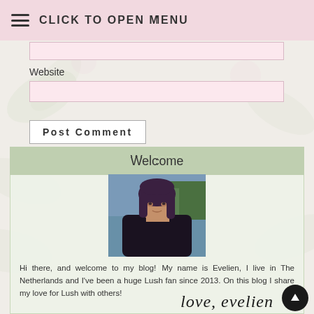CLICK TO OPEN MENU
Website
Post Comment
Welcome
[Figure (photo): Profile photo of Evelien, a woman with dark purple/brown hair, outdoors near water with trees in background]
Hi there, and welcome to my blog! My name is Evelien, I live in The Netherlands and I've been a huge Lush fan since 2013. On this blog I share my love for Lush with others!
love, evelien